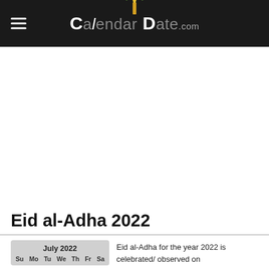Calendar Date.com
Eid al-Adha 2022
[Figure (other): Mini calendar showing July 2022 with day headers Su Mo Tu We Th Fr Sa]
Eid al-Adha for the year 2022 is celebrated/ observed on